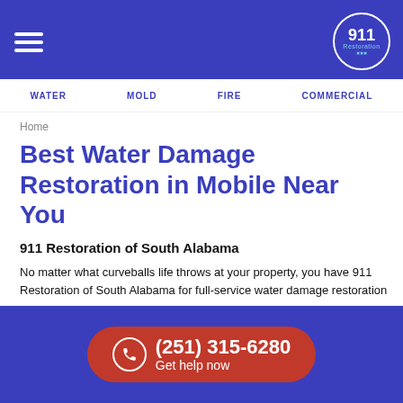[Figure (logo): 911 Restoration logo in a circle on blue header bar with hamburger menu icon]
WATER  MOLD  FIRE  COMMERCIAL
Home
Best Water Damage Restoration in Mobile Near You
911 Restoration of South Alabama
No matter what curveballs life throws at your property, you have 911 Restoration of South Alabama for full-service water damage restoration near you.
And with the endless attractions, entertainment, and sights to see in the city of Mobile, there's no time for a property disaster to get in your way of enjoying your life.
(251) 315-6280 Get help now